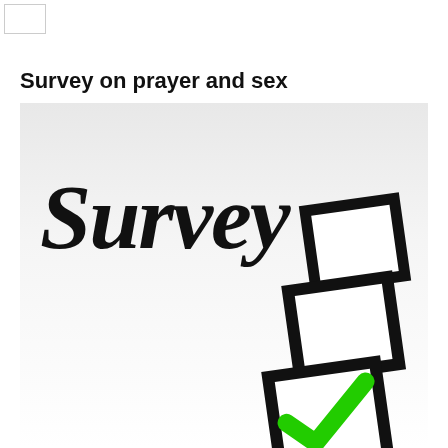[Figure (other): Small white rectangle/logo placeholder in top-left corner]
Survey on prayer and sex
[Figure (photo): Survey image showing the word 'Survey' written in handwritten/script font on a white background, with three checkbox squares stacked diagonally — the top two are unchecked and the bottom one has a green checkmark inside it.]